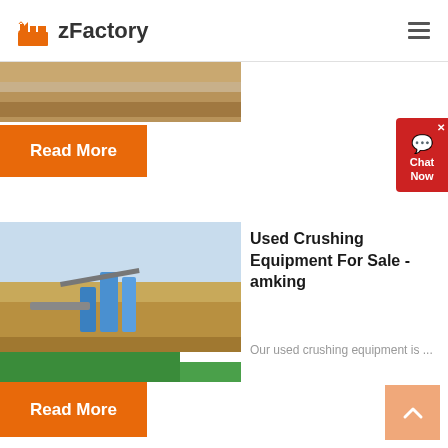zFactory
[Figure (photo): Aerial view of sandy terrain, top image strip]
Read More
[Figure (photo): Chat Now widget button with red background]
[Figure (photo): Quarry site with crushing equipment, green water pool, blue sky]
Used Crushing Equipment For Sale - amking
Our used crushing equipment is ...
Read More